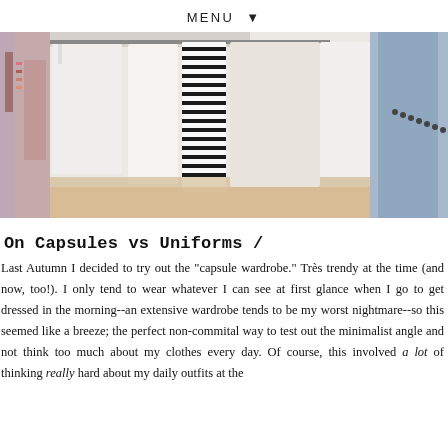MENU ▼
[Figure (photo): A clothing rack with various garments hanging — white tops, a striped black-and-white piece, patterned fabrics on the left, and denim on the right side. Bright, airy, light background with wooden floor visible.]
On Capsules vs Uniforms /
Last Autumn I decided to try out the "capsule wardrobe." Très trendy at the time (and now, too!). I only tend to wear whatever I can see at first glance when I go to get dressed in the morning--an extensive wardrobe tends to be my worst nightmare--so this seemed like a breeze; the perfect non-commital way to test out the minimalist angle and not think too much about my clothes every day. Of course, this involved a lot of thinking really hard about my daily outfits at the